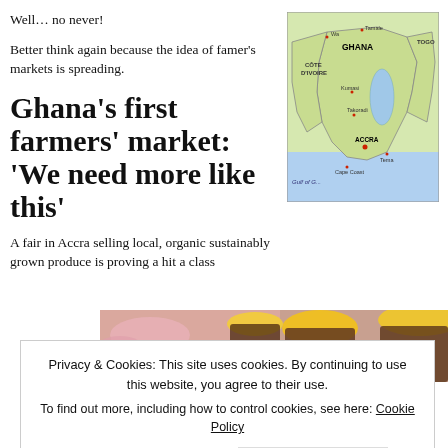Well… no never!
Better think again because the idea of famer’s markets is spreading.
[Figure (map): Map showing Ghana and surrounding countries including Côte D'Ivoire and Togo, with cities like Accra, Cape Coast, Kumasi marked.]
Ghana’s first farmers’ market: ‘We need more like this’
A fair in Accra selling local, organic sustainably grown produce is proving a hit a class
[Figure (photo): Close-up photo of jars with yellow and pink lids, likely containing food products at a farmers' market.]
Privacy & Cookies: This site uses cookies. By continuing to use this website, you agree to their use.
To find out more, including how to control cookies, see here: Cookie Policy
Close and accept